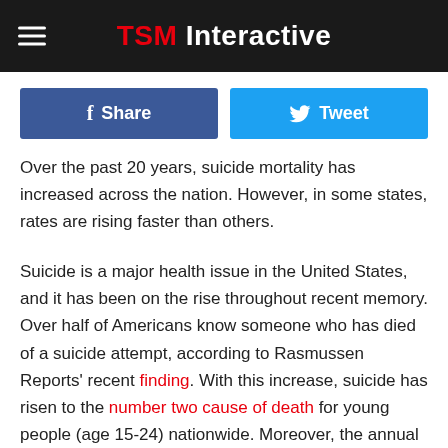TSM Interactive
Over the past 20 years, suicide mortality has increased across the nation. However, in some states, rates are rising faster than others.
Suicide is a major health issue in the United States, and it has been on the rise throughout recent memory. Over half of Americans know someone who has died of a suicide attempt, according to Rasmussen Reports' recent finding. With this increase, suicide has risen to the number two cause of death for young people (age 15-24) nationwide. Moreover, the annual cost from lost work and medical issues related to suicide has climbed to a staggering price of over $50 million. With 123 deaths a day, addressing this